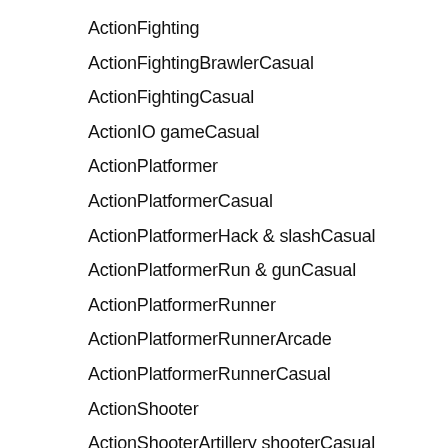ActionFighting
ActionFightingBrawlerCasual
ActionFightingCasual
ActionIO gameCasual
ActionPlatformer
ActionPlatformerCasual
ActionPlatformerHack & slashCasual
ActionPlatformerRun & gunCasual
ActionPlatformerRunner
ActionPlatformerRunnerArcade
ActionPlatformerRunnerCasual
ActionShooter
ActionShooterArtillery shooterCasual
ActionShooterBulletstorm
ActionShooterBulletstormArcade